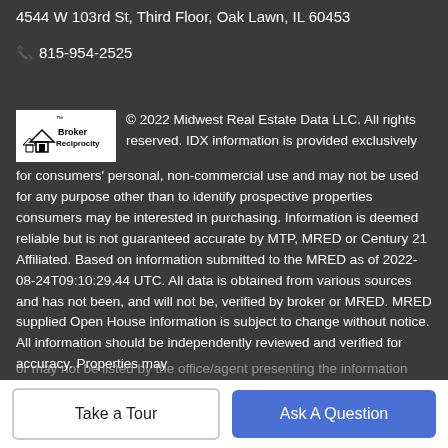4544 W 103rd St, Third Floor, Oak Lawn, IL 60453
815-954-2525
© 2022 Midwest Real Estate Data LLC. All rights reserved. IDX information is provided exclusively for consumers' personal, non-commercial use and may not be used for any purpose other than to identify prospective properties consumers may be interested in purchasing. Information is deemed reliable but is not guaranteed accurate by MTP, MRED or Century 21 Affiliated. Based on information submitted to the MRED as of 2022-08-24T09:10:29.44 UTC. All data is obtained from various sources and has not been, and will not be, verified by broker or MRED. MRED supplied Open House information is subject to change without notice. All information should be independently reviewed and verified for accuracy. Properties may
or may not be listed by the office/agent presenting the information
Take a Tour
Ask A Question